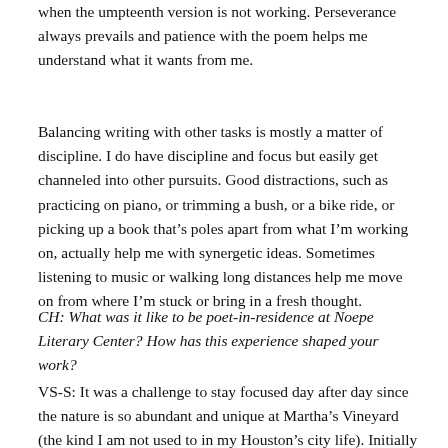when the umpteenth version is not working.  Perseverance always prevails and patience with the poem helps me understand what it wants from me.
Balancing writing with other tasks is mostly a matter of discipline.  I do have discipline and focus but easily get channeled into other pursuits. Good distractions, such as practicing on piano, or trimming a bush, or a bike ride, or picking up a book that's poles apart from what I'm working on, actually help me with synergetic ideas.  Sometimes listening to music or walking long distances help me move on from where I'm stuck or bring in a fresh thought.
CH: What was it like to be poet-in-residence at Noepe Literary Center? How has this experience shaped your work?
VS-S: It was a challenge to stay focused day after day since the nature is so abundant and unique at Martha's Vineyard (the kind I am not used to in my Houston's city life). Initially I